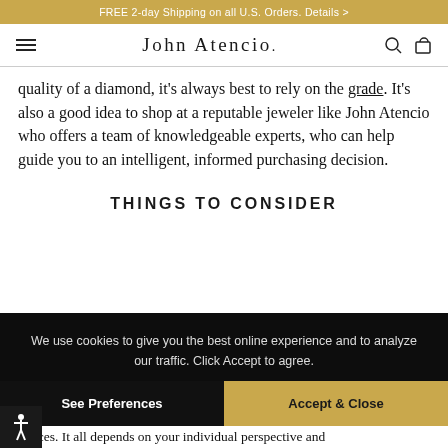FREE 2-day Shipping on all U.S. Orders. Details >
[Figure (logo): John Atencio logo with hamburger menu icon and search/cart icons in navigation bar]
quality of a diamond, it's always best to rely on the grade. It's also a good idea to shop at a reputable jeweler like John Atencio who offers a team of knowledgeable experts, who can help guide you to an intelligent, informed purchasing decision.
THINGS TO CONSIDER
We use cookies to give you the best online experience and to analyze our traffic. Click Accept to agree.
eferences. It all depends on your individual perspective and